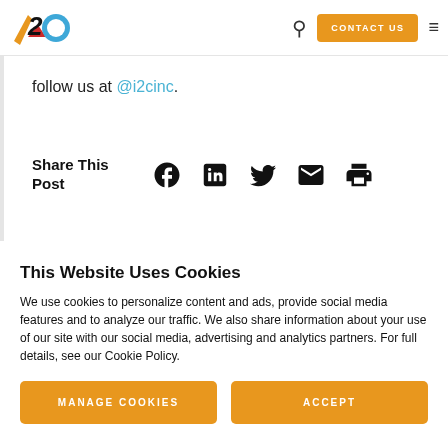i2c Inc. navigation header with logo, search, CONTACT US button, and menu
follow us at @i2cinc.
Share This Post
This Website Uses Cookies
We use cookies to personalize content and ads, provide social media features and to analyze our traffic. We also share information about your use of our site with our social media, advertising and analytics partners. For full details, see our Cookie Policy.
MANAGE COOKIES
ACCEPT